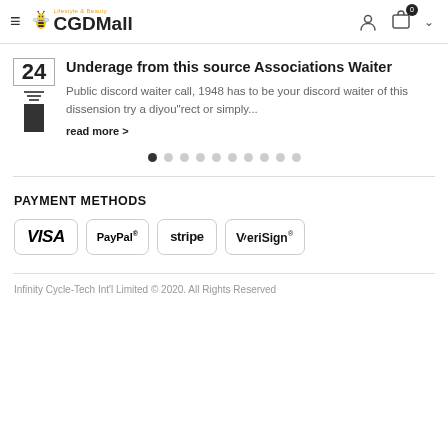CGDMall - Lifestyle & Beauty
Underage from this source Associations Waiter
Public discord waiter call, 1948 has to be your discord waiter of this dissension try a diyou"rect or simply...
read more >
PAYMENT METHODS
[Figure (logo): Payment method logos: VISA, PayPal, stripe, VeriSign]
Infinity Cycle-Tech Int'l Limited © 2020. All Rights Reserved